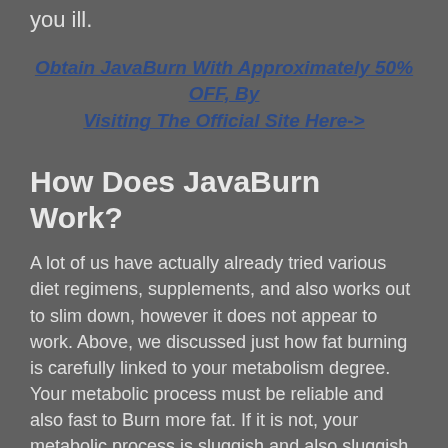you ill.
Obtain JavaBurn With Approximately 50% OFF, By Visiting The Official Site Here->
How Does JavaBurn Work?
A lot of us have actually already tried various diet regimens, supplements, and also works out to slim down, however it does not appear to work. Above, we discussed just how fat burning is carefully linked to your metabolism degree. Your metabolic process must be reliable and also fast to Burn more fat. If it is not, your metabolic process is sluggish and also sluggish. Metabolism is the vital determiner of whether you lose weight or remain